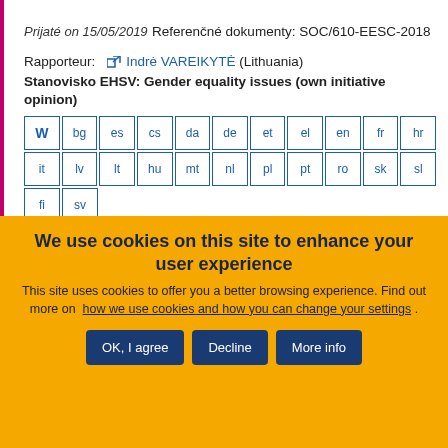Prijaté on 15/05/2019
Referenčné dokumenty: SOC/610-EESC-2018
Rapporteur: Indrė VAREIKYTĖ (Lithuania)
Stanovisko EHSV: Gender equality issues (own initiative opinion)
[Figure (other): Language selector buttons: W (Word), bg, es, cs, da, de, et, el, en, fr, hr, it, lv, lt, hu, mt, nl, pl, pt, ro, sk, sl, fi, sv]
We use cookies on this site to enhance your user experience
This site uses cookies to offer you a better browsing experience. Find out more on how we use cookies and how you can change your settings .
OK, I agree | Decline | More info